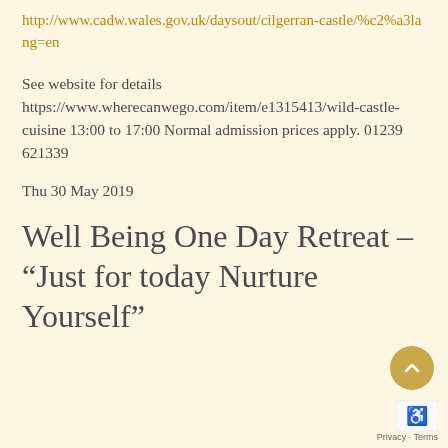http://www.cadw.wales.gov.uk/daysout/cilgerran-castle/%c2%a3lang=en
See website for details https://www.wherecanwego.com/item/e1315413/wild-castle-cuisine 13:00 to 17:00 Normal admission prices apply. 01239 621339
Thu 30 May 2019
Well Being One Day Retreat – “Just for today Nurture Yourself”